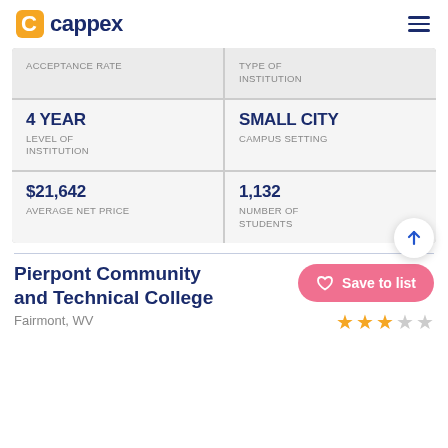cappex
| Left | Right |
| --- | --- |
| ACCEPTANCE RATE | TYPE OF INSTITUTION |
| 4 YEAR
LEVEL OF INSTITUTION | SMALL CITY
CAMPUS SETTING |
| $21,642
AVERAGE NET PRICE | 1,132
NUMBER OF STUDENTS |
Pierpont Community and Technical College
Fairmont, WV